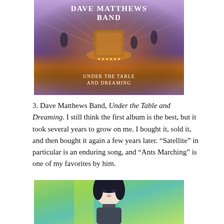[Figure (photo): Album cover for Dave Matthews Band 'Under the Table and Dreaming' — purple/blue toned carnival or fair scene with glowing structure, silhouetted figures, text overlay.]
3. Dave Matthews Band, Under the Table and Dreaming. I still think the first album is the best, but it took several years to grow on me. I bought it, sold it, and then bought it again a few years later. “Satellite” in particular is an enduring song, and “Ants Marching” is one of my favorites by him.
[Figure (photo): Portrait photo of a young dark-haired male musician against a colorful green/blue/yellow glittery background.]